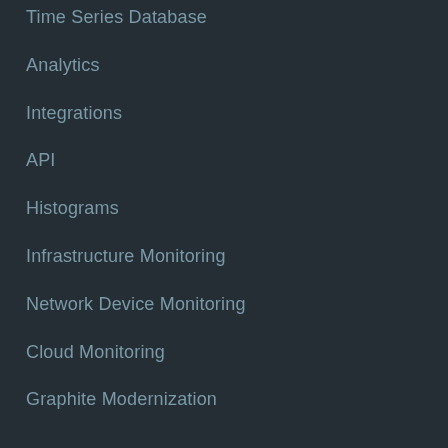Time Series Database
Analytics
Integrations
API
Histograms
Infrastructure Monitoring
Network Device Monitoring
Cloud Monitoring
Graphite Modernization